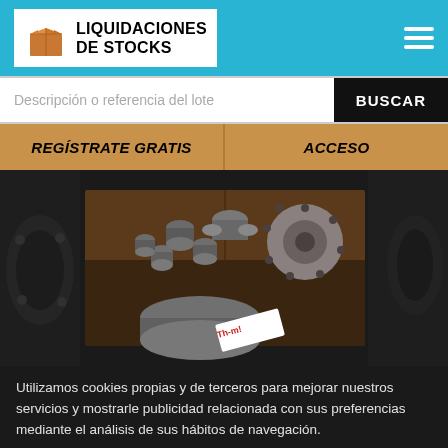[Figure (logo): Liquidaciones de Stocks logo with brown box icon on white background, header in blue bar]
Descripción o referencia del lote
BUSCAR
REGÍSTRATE GRATIS
ACCESO
[Figure (photo): Photo of industrial pipe fittings and flanges in a wooden box/crate, dark warehouse setting]
Utilizamos cookies propias y de terceros para mejorar nuestros servicios y mostrarle publicidad relacionada con sus preferencias mediante el análisis de sus hábitos de navegación.
OCULTAR
POLITICA DE COOKIES